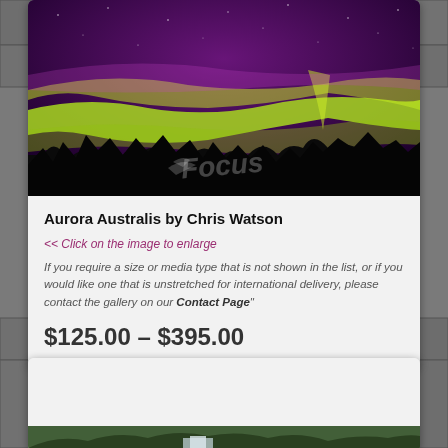[Figure (photo): Aurora Australis night sky photo showing purple sky with green aurora lights above dark tree silhouettes, watermarked with 'Focus' logo]
Aurora Australis by Chris Watson
<< Click on the image to enlarge
If you require a size or media type that is not shown in the list, or if you would like one that is unstretched for international delivery, please contact the gallery on our Contact Page"
$125.00 – $395.00
[Figure (photo): Bottom portion of a second card showing white space and beginning of a waterfall photo]